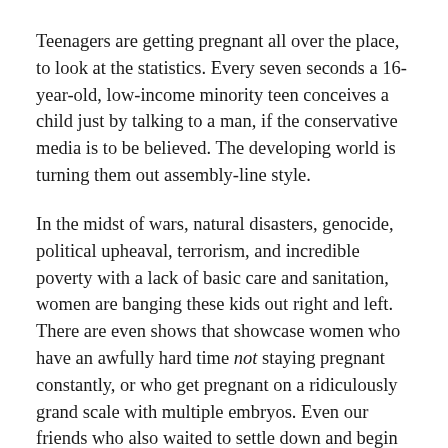Teenagers are getting pregnant all over the place, to look at the statistics. Every seven seconds a 16-year-old, low-income minority teen conceives a child just by talking to a man, if the conservative media is to be believed. The developing world is turning them out assembly-line style.
In the midst of wars, natural disasters, genocide, political upheaval, terrorism, and incredible poverty with a lack of basic care and sanitation, women are banging these kids out right and left. There are even shows that showcase women who have an awfully hard time not staying pregnant constantly, or who get pregnant on a ridiculously grand scale with multiple embryos. Even our friends who also waited to settle down and begin families are just popping them out like a row of champagne bottles. Our Facebook explodes with daily and monthly reports of their current and impending offspring.